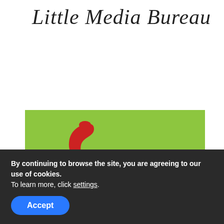[Figure (logo): Little Media Bureau cursive/script logo text]
[Figure (photo): Green background image with a red telephone handset icon in the center-left area]
Headquarters: 54 Great North Road
By continuing to browse the site, you are agreeing to our use of cookies.
To learn more, click settings.